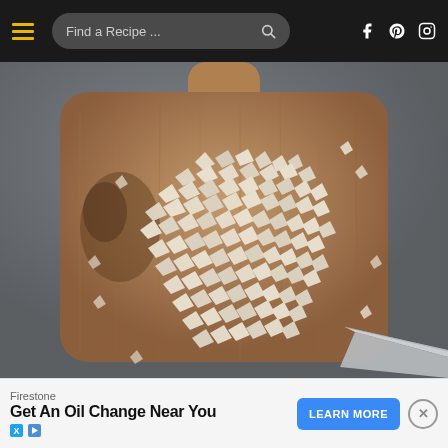Find a Recipe ...
[Figure (photo): Overhead view of finely chopped mushrooms piled on a rustic wooden cutting board, with a knife visible at the bottom right, on a dark gray background]
Firestone
Get An Oil Change Near You
LEARN MORE
X